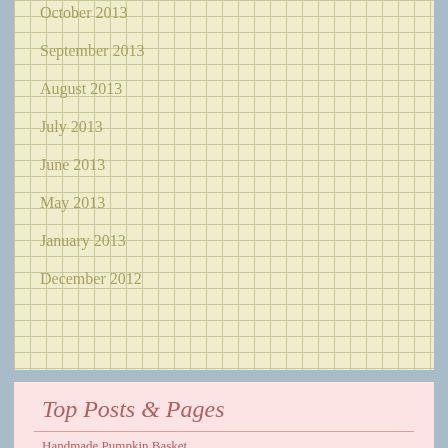October 2013
September 2013
August 2013
July 2013
June 2013
May 2013
January 2013
December 2012
Top Posts & Pages
Handmade Pumpkin Basket